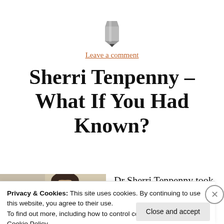[Figure (illustration): Small pencil icon in gray, centered at top of page]
Leave a comment
Sherri Tenpenny – What If You Had Known?
[Figure (photo): Photo of a woman with dark hair, partially visible, left side of content area]
Dr Sherri Tenpenny took part in an
Privacy & Cookies: This site uses cookies. By continuing to use this website, you agree to their use.
To find out more, including how to control cookies, see here:
Cookie Policy
Close and accept